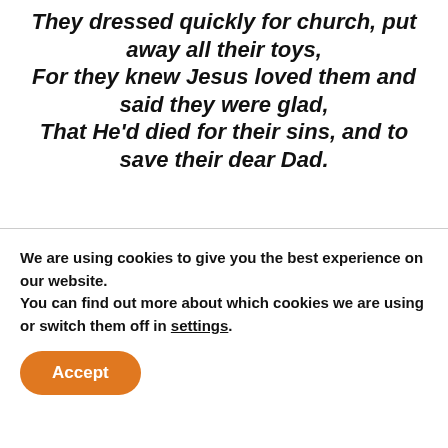They dressed quickly for church, put away all their toys, For they knew Jesus loved them and said they were glad, That He'd died for their sins, and to save their dear Dad.
Pere Robert
[Figure (other): Navigation arrows (left chevron << and right chevron >>) for poem carousel]
[Figure (photo): Pink/magenta decorative banner image strip]
We are using cookies to give you the best experience on our website.
You can find out more about which cookies we are using or switch them off in settings.
Accept